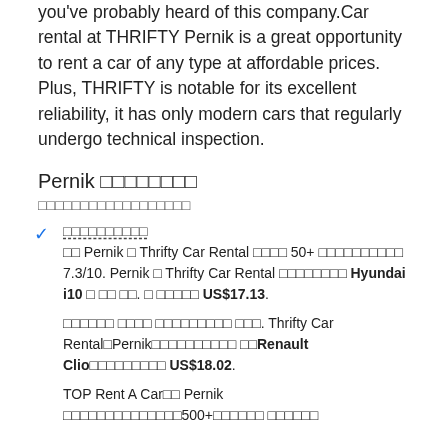you've probably heard of this company.Car rental at THRIFTY Pernik is a great opportunity to rent a car of any type at affordable prices. Plus, THRIFTY is notable for its excellent reliability, it has only modern cars that regularly undergo technical inspection.
Pernik □□□□□□□□
□□□□□□□□□□□□□□□□□□
□□□□□□□□□□
□□ Pernik □ Thrifty Car Rental □□□□ 50+ □□□□□□□□□□ 7.3/10. Pernik □ Thrifty Car Rental □□□□□□□□ Hyundai i10 □ □□ □□. □ □□□□□ US$17.13.
□□□□□□ □□□□ □□□□□□□□□ □□□. Thrifty Car Rental□Pernik□□□□□□□□□□□ □□Renault Clio□□□□□□□□□ US$18.02.
TOP Rent A Car□□ Pernik □□□□□□□□□□□□□□□□500+□□□□□□ □□□□□□□